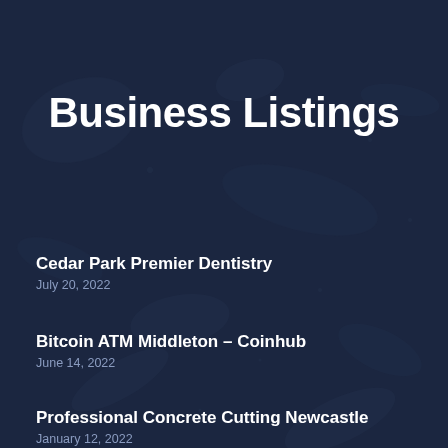Business Listings
Cedar Park Premier Dentistry
July 20, 2022
Bitcoin ATM Middleton – Coinhub
June 14, 2022
Professional Concrete Cutting Newcastle
January 12, 2022